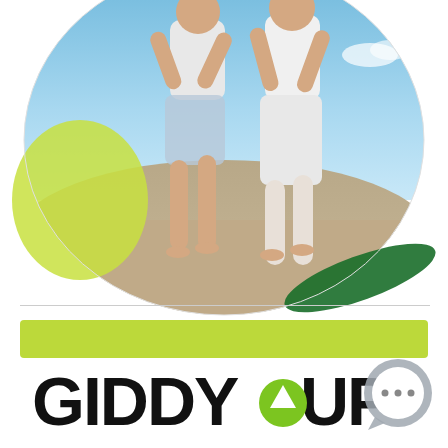[Figure (photo): Two people running barefoot on a sandy beach, wearing casual white/light clothing, with a light blue sky background. A yellow-green circular shape overlays the left side and a dark green elongated shape overlays the lower right. The photo is clipped inside a rounded rectangular/oval shape.]
[Figure (logo): GIDDY UP logo in bold black text with a green upward arrow circle replacing the dot in 'UP', and a grey speech bubble circle with three dots on the right side. Above the text is a solid lime green horizontal bar.]